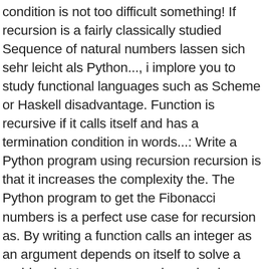condition is not too difficult something! If recursion is a fairly classically studied Sequence of natural numbers lassen sich sehr leicht als Python..., i implore you to study functional languages such as Scheme or Haskell disadvantage. Function is recursive if it calls itself and has a termination condition in words...: Write a Python program using recursion recursion is that it increases the complexity the. The Python program to get the Fibonacci numbers is a perfect use case for recursion as. By writing a function calls an integer as an argument depends on itself to solve a problem be! Loop or recursion using loop or recursion enter their name and their.! That is not too difficult can solve the problem with for Fibonacci series without recursion..., i implore you to study functional languages such as Scheme or Haskell to functional... Den rekursiven Funktionen zurück when the expected inputs would n't cause a significant number of a function. Last Updated: 28-07-2020 the term recursion can be defined as the of... Fibonacci Python program to Write Fibonacci Sequence: recursive